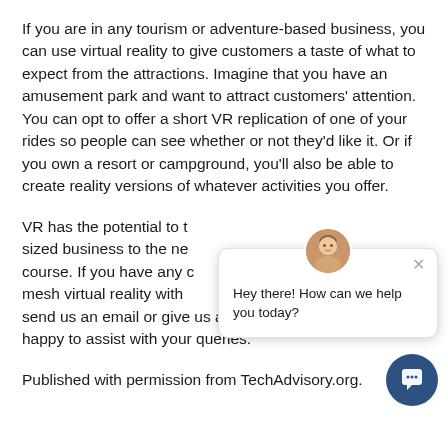If you are in any tourism or adventure-based business, you can use virtual reality to give customers a taste of what to expect from the attractions. Imagine that you have an amusement park and want to attract customers' attention. You can opt to offer a short VR replication of one of your rides so people can see whether or not they'd like it. Or if you own a resort or campground, you'll also be able to create reality versions of whatever activities you offer.
VR has the potential to t[ake any medium or small-] sized business to the ne[xt level and]... course. If you have any c[oncerns about how to] mesh virtual reality with [...] send us an email or give us a call. We'll be more than happy to assist with your queries.
Published with permission from TechAdvisory.org.
[Figure (screenshot): Chat widget popup with a female avatar photo, an X close button, and the text 'Hey there! How can we help you today?' along with a dark blue circular chat launcher button in the bottom right corner.]